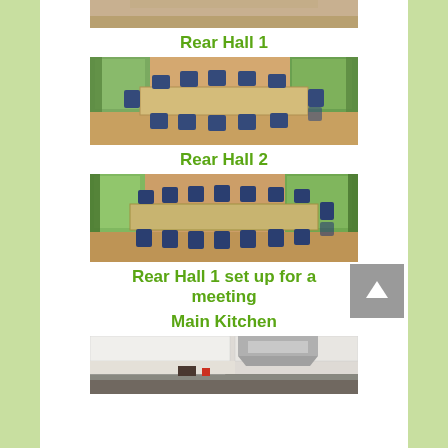[Figure (photo): Partial cropped top photo of Rear Hall 1]
Rear Hall 1
[Figure (photo): Photo of Rear Hall 2 — room with tables arranged in U-shape with blue chairs, wooden floor, green curtains]
Rear Hall 2
[Figure (photo): Photo of Rear Hall 1 set up for a meeting — long tables with blue chairs, green curtains, wooden floor]
Rear Hall 1 set up for a meeting
Main Kitchen
[Figure (photo): Partial photo of Main Kitchen — white cabinets, extractor hood, kitchen counters]